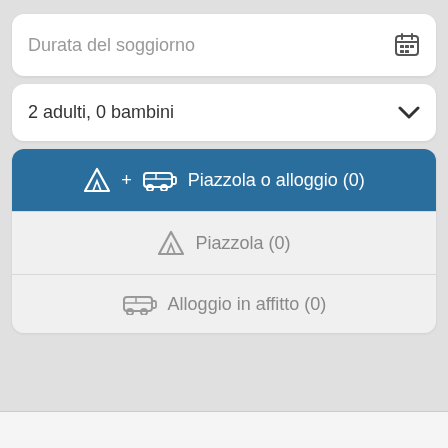Durata del soggiorno
2 adulti, 0 bambini
Piazzola o alloggio (0)
Piazzola (0)
Alloggio in affitto (0)